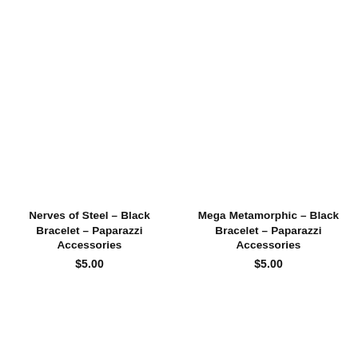Nerves of Steel – Black Bracelet – Paparazzi Accessories
$5.00
Mega Metamorphic – Black Bracelet – Paparazzi Accessories
$5.00